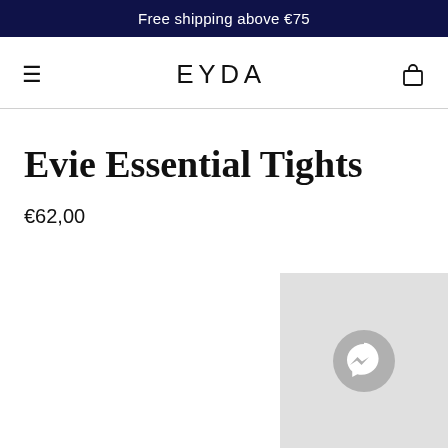Free shipping above €75
EYDA
Evie Essential Tights
€62,00
[Figure (illustration): Messenger/chat bubble icon in a circular grey badge, shown in the bottom-right corner over a light grey panel]